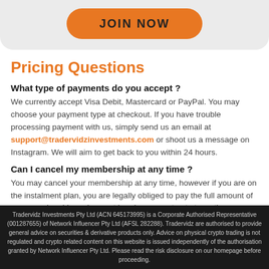[Figure (other): JOIN NOW button on a rounded card background]
Pricing Questions
What type of payments do you accept?
We currently accept Visa Debit, Mastercard or PayPal. You may choose your payment type at checkout. If you have trouble processing payment with us, simply send us an email at support@tradervidzinvestments.com or shoot us a message on Instagram. We will aim to get back to you within 24 hours.
Can I cancel my membership at any time?
You may cancel your membership at any time, however if you are on the instalment plan, you are legally obliged to pay the full amount of your membership and cannot break your contract at any time.
Tradervidz Investments Pty Ltd (ACN 645173995) is a Corporate Authorised Representative (001287655) of Network Influencer Pty Ltd (AFSL 282288). Tradervidz are authorised to provide general advice on securities & derivative products only. Advice on physical crypto trading is not regulated and crypto related content on this website is issued independently of the authorisation granted by Network Influencer Pty Ltd. Please read the risk disclosure on our homepage before proceeding.